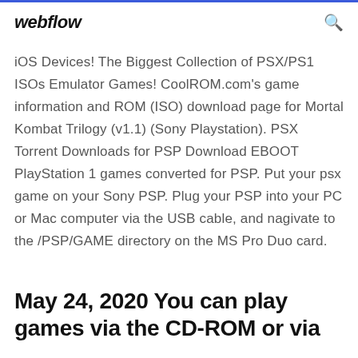webflow
iOS Devices! The Biggest Collection of PSX/PS1 ISOs Emulator Games! CoolROM.com's game information and ROM (ISO) download page for Mortal Kombat Trilogy (v1.1) (Sony Playstation). PSX Torrent Downloads for PSP Download EBOOT PlayStation 1 games converted for PSP. Put your psx game on your Sony PSP. Plug your PSP into your PC or Mac computer via the USB cable, and nagivate to the /PSP/GAME directory on the MS Pro Duo card.
May 24, 2020 You can play games via the CD-ROM or via